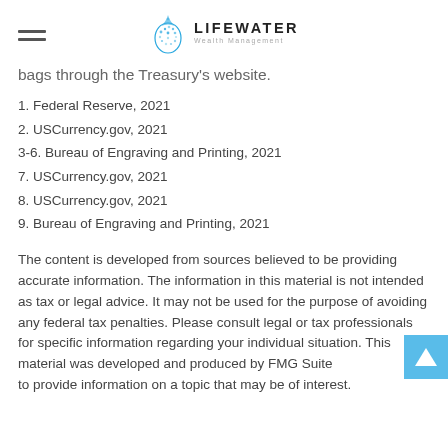LIFEWATER Wealth Management
bags through the Treasury's website.
1. Federal Reserve, 2021
2. USCurrency.gov, 2021
3-6. Bureau of Engraving and Printing, 2021
7. USCurrency.gov, 2021
8. USCurrency.gov, 2021
9. Bureau of Engraving and Printing, 2021
The content is developed from sources believed to be providing accurate information. The information in this material is not intended as tax or legal advice. It may not be used for the purpose of avoiding any federal tax penalties. Please consult legal or tax professionals for specific information regarding your individual situation. This material was developed and produced by FMG Suite to provide information on a topic that may be of interest.